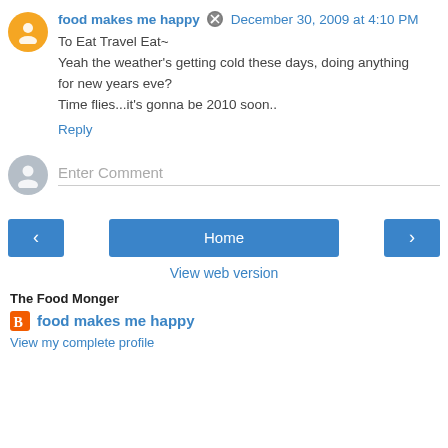food makes me happy  December 30, 2009 at 4:10 PM
To Eat Travel Eat~
Yeah the weather's getting cold these days, doing anything for new years eve?
Time flies...it's gonna be 2010 soon..
Reply
[Figure (infographic): Enter Comment input field with gray user avatar icon]
[Figure (infographic): Navigation buttons: left arrow, Home, right arrow. Below: View web version link.]
The Food Monger
food makes me happy
View my complete profile